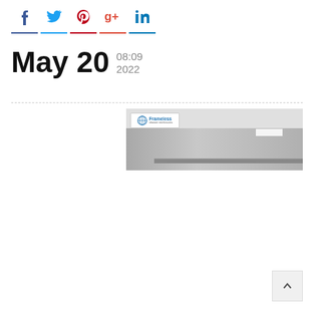Social share icons: Facebook, Twitter, Pinterest, Google+, LinkedIn
May 20  08:09  2022
[Figure (photo): Interior ceiling/wall photo with a 'Frameless' branded logo sticker visible in the top-left corner of the image. The image shows a grey interior space with a light fixture visible on the right side.]
[Figure (other): Back to top button arrow in bottom-right corner]